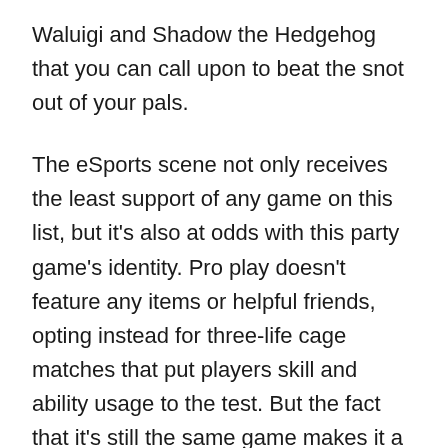Waluigi and Shadow the Hedgehog that you can call upon to beat the snot out of your pals.

The eSports scene not only receives the least support of any game on this list, but it's also at odds with this party game's identity. Pro play doesn't feature any items or helpful friends, opting instead for three-life cage matches that put players skill and ability usage to the test. But the fact that it's still the same game makes it a great one for new players, who can get acclimated to the fun, carefree party game nature and then